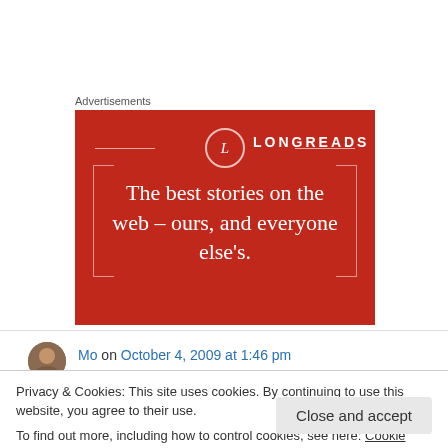Advertisements
[Figure (illustration): Longreads advertisement banner with red background, circular L logo, and text: The best stories on the web – ours, and everyone else's.]
Mo on October 4, 2009 at 1:46 pm
Privacy & Cookies: This site uses cookies. By continuing to use this website, you agree to their use.
To find out more, including how to control cookies, see here: Cookie Policy
Close and accept